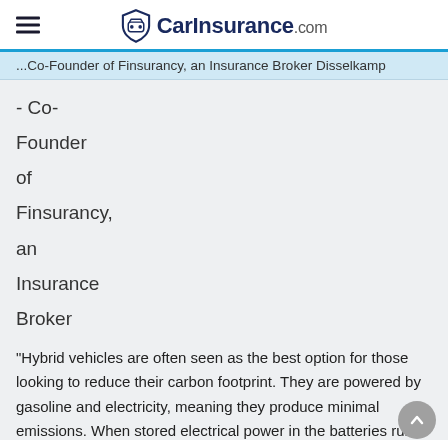CarInsurance.com
...Co-Founder of Finsurancy, an Insurance Broker Disselkamp - Co- Founder of Finsurancy, an Insurance Broker
"Hybrid vehicles are often seen as the best option for those looking to reduce their carbon footprint. They are powered by gasoline and electricity, meaning they produce minimal emissions. When stored electrical power in the batteries runs..."